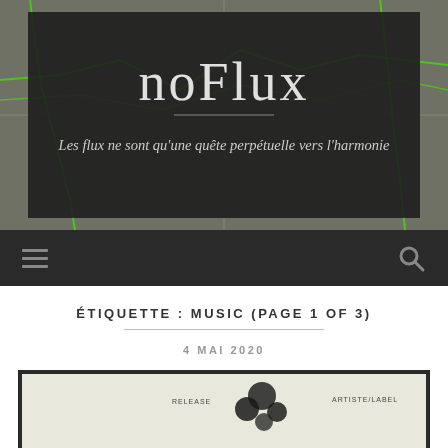[Figure (screenshot): noFlux website header with satellite map background and dark overlay showing site title 'noFlux' and subtitle 'Les flux ne sont qu'une quête perpétuelle vers l'harmonie']
ÉTIQUETTE : MUSIC (PAGE 1 OF 3)
4 MAI 2020
[Figure (screenshot): Article preview image with dark border showing partial content]